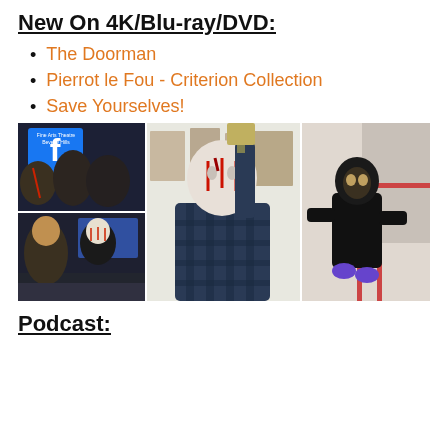New On 4K/Blu-ray/DVD:
The Doorman
Pierrot le Fou - Criterion Collection
Save Yourselves!
[Figure (photo): Collage of horror convention photos: top-left shows two people interacting at Fine Arts Theatre Beverly Hills, bottom-left shows a person in a hockey mask at a convention booth, center shows a person in Jason Voorhees costume holding a machete, right shows a child in a black latex costume on stairs.]
Podcast: